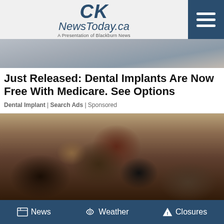CK NewsToday.ca — A Presentation of Blackburn News
[Figure (photo): Partial photo of a person in a light blue outfit, cropped at waist/torso level]
Just Released: Dental Implants Are Now Free With Medicare. See Options
Dental Implant | Search Ads | Sponsored
[Figure (photo): Collection of luxury designer handbags including Louis Vuitton and Chanel bags arranged in a pile]
News  Weather  Closures